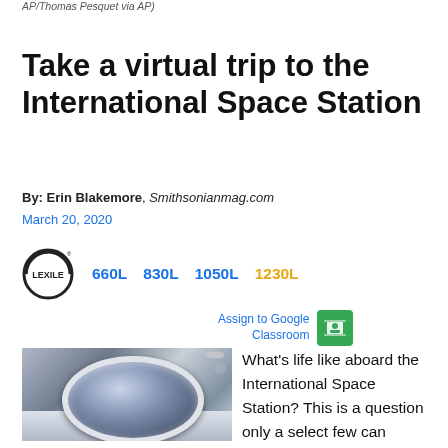AP/Thomas Pesquet via AP)
Take a virtual trip to the International Space Station
By: Erin Blakemore, Smithsonianmag.com
March 20, 2020
[Figure (logo): Lexile logo with reading level selectors: 660L (blue), 830L (blue), 1050L (blue), 1230L (gold/highlighted)]
Assign to Google Classroom
[Figure (photo): Close-up photo of an astronaut in a spacesuit with a reflective helmet visor, taken outside the International Space Station]
What's life like aboard the International Space Station? This is a question only a select few can